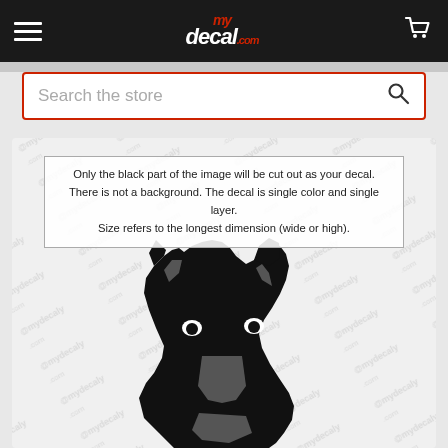[Figure (screenshot): Website header with dark background showing hamburger menu icon on left, myDecal.com logo in center, and shopping cart icon on right]
[Figure (screenshot): Search bar with red border and magnifying glass icon, placeholder text 'Search the store']
Only the black part of the image will be cut out as your decal. There is not a background. The decal is single color and single layer. Size refers to the longest dimension (wide or high).
[Figure (illustration): Black silhouette/stencil illustration of a German Shepherd dog head and upper body on a watermarked background with repeated @mydecaly.com watermarks]